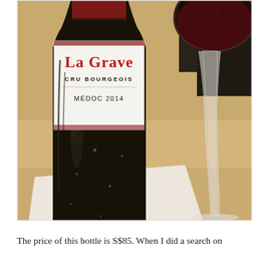[Figure (photo): Close-up photograph of a wine bottle labeled 'La Grave, Cru Bourgeois, Médoc 2014' next to a red wine glass on a table with a napkin/coaster.]
The price of this bottle is S$85. When I did a search on